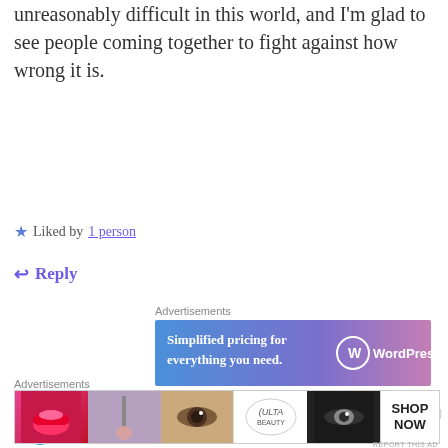unreasonably difficult in this world, and I'm glad to see people coming together to fight against how wrong it is.
★ Liked by 1 person
↩ Reply
Advertisements
[Figure (screenshot): WordPress.com advertisement banner: 'Simplified pricing for everything you need.' with WordPress.com logo on gradient blue-to-pink background]
REPORT THIS AD
Jet with Jen
Advertisements
[Figure (screenshot): Ulta Beauty advertisement banner showing makeup product photos and 'SHOP NOW' button]